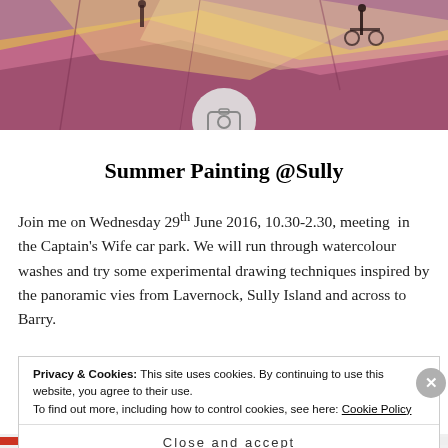[Figure (photo): Top banner image showing a colorful painting with figures on rocky terrain, with a circular camera/placeholder icon overlaid at the bottom center of the image]
Summer Painting @Sully
Join me on Wednesday 29th June 2016, 10.30-2.30, meeting  in the Captain's Wife car park. We will run through watercolour washes and try some experimental drawing techniques inspired by the panoramic vies from Lavernock, Sully Island and across to Barry.
Privacy & Cookies: This site uses cookies. By continuing to use this website, you agree to their use.
To find out more, including how to control cookies, see here: Cookie Policy
Close and accept